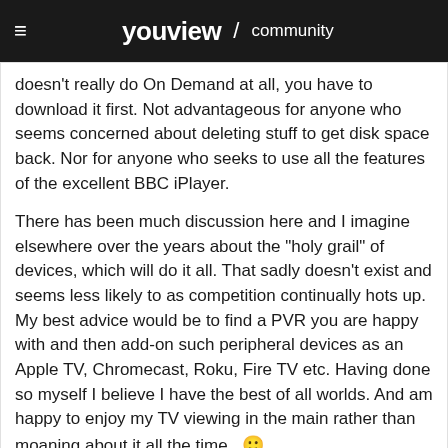youview / community
doesn't really do On Demand at all, you have to download it first. Not advantageous for anyone who seems concerned about deleting stuff to get disk space back. Nor for anyone who seeks to use all the features of the excellent BBC iPlayer.

There has been much discussion here and I imagine elsewhere over the years about the "holy grail" of devices, which will do it all. That sadly doesn't exist and seems less likely to as competition continually hots up. My best advice would be to find a PVR you are happy with and then add-on such peripheral devices as an Apple TV, Chromecast, Roku, Fire TV etc. Having done so myself I believe I have the best of all worlds. And am happy to enjoy my TV viewing in the main rather than moaning about it all the time. 🙂
@scott I find that Sky Q is quicker when it comes to picking a spot in a recording, if you pause and then press and hold the left/right directional key. I have just tested that on a 1h40m recording and got from start to finish in 8 seconds.